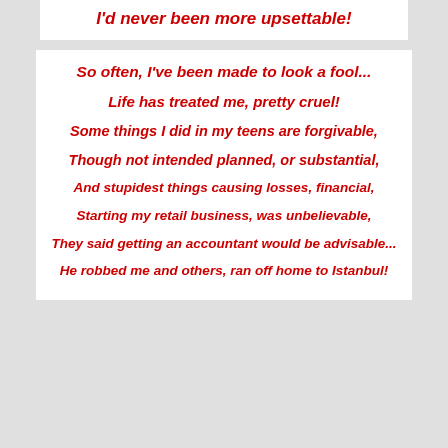I'd never been more upsettable!
So often, I've been made to look a fool...
Life has treated me, pretty cruel!
Some things I did in my teens are forgivable,
Though not intended planned, or substantial,
And stupidest things causing losses, financial,
Starting my retail business, was unbelievable,
They said getting an accountant would be advisable...
He robbed me and others, ran off home to Istanbul!